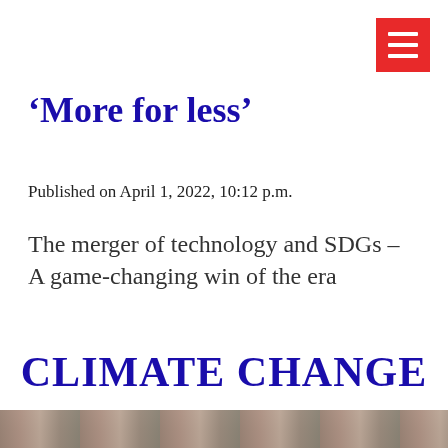[Figure (other): Red hamburger menu button with three white horizontal lines, positioned in the top-right corner]
‘More for less’
Published on April 1, 2022, 10:12 p.m.
The merger of technology and SDGs – A game-changing win of the era
CLIMATE CHANGE
[Figure (photo): Partial photo visible at the very bottom of the page, appears to show a person or scene, cropped]